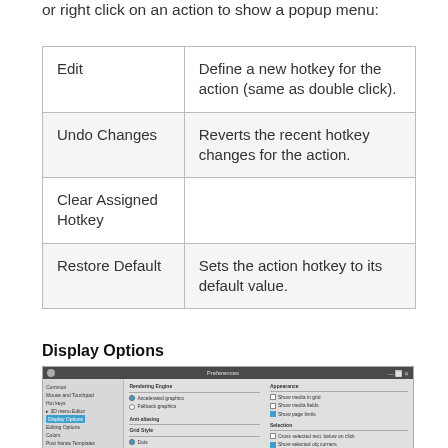or right click on an action to show a popup menu:
|  |  |
| --- | --- |
| Edit | Define a new hotkey for the action (same as double click). |
| Undo Changes | Reverts the recent hotkey changes for the action. |
| Clear Assigned Hotkey |  |
| Restore Default | Sets the action hotkey to its default value. |
Display Options
[Figure (screenshot): Screenshot of a Preferences dialog window showing options for Rendering Engine, Anti-aliasing options, Appearance, and Selection settings.]